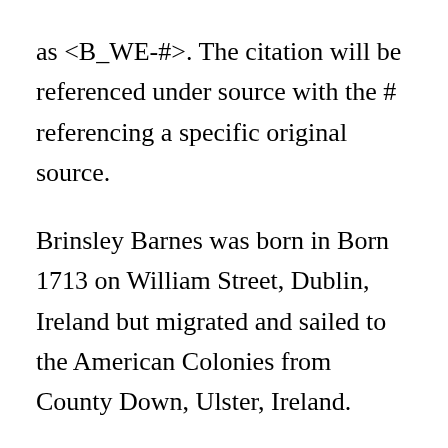as <B_WE-#>. The citation will be referenced under source with the # referencing a specific original source.
Brinsley Barnes was born in Born 1713 on William Street, Dublin, Ireland but migrated and sailed to the American Colonies from County Down, Ulster, Ireland.